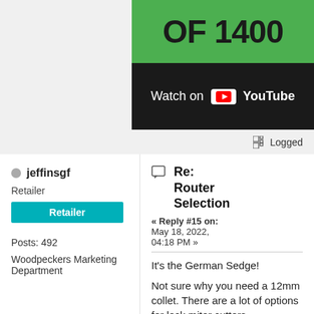[Figure (screenshot): YouTube video thumbnail showing 'OF 1400' text on green background with 'Watch on YouTube' bar below]
Logged
jeffinsgf
Retailer
Retailer
Posts: 492
Woodpeckers Marketing Department
Re: Router Selection
« Reply #15 on: May 18, 2022, 04:18 PM »
It's the German Sedge!

Not sure why you need a 12mm collet. There are a lot of options for lock miter cutters